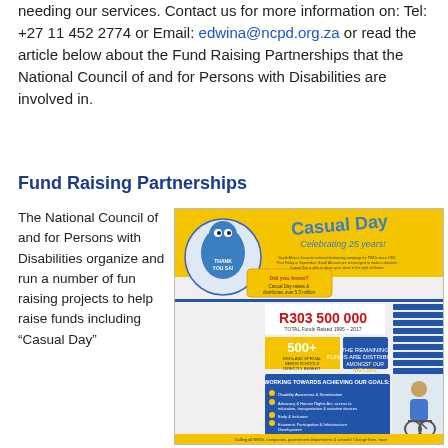needing our services. Contact us for more information on: Tel: +27 11 452 2774 or Email: edwina@ncpd.org.za or read the article below about the Fund Raising Partnerships that the National Council of and for Persons with Disabilities are involved in.
Fund Raising Partnerships
The National Council of and for Persons with Disabilities organize and run a number of fun raising projects to help raise funds including "Casual Day"
[Figure (infographic): Casual Day 25 years celebrating infographic showing R303 500 000 total funds raised 1995-2017, 500+ NGOs and special needs schools directly benefit, national beneficiaries, working towards achieving goals including disability awareness, advocacy, education, economic participation, and other programs. Shows a blue mascot character and a woman in a wheelchair.]